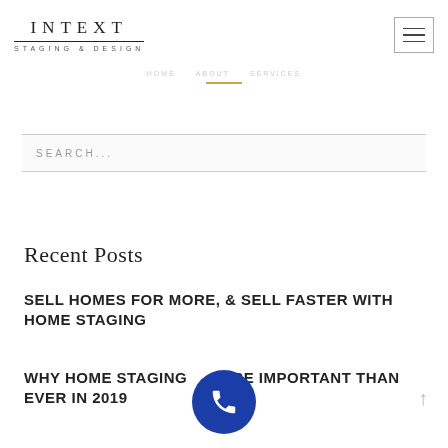INTEXT STAGING & DESIGN
SEARCH...
Recent Posts
SELL HOMES FOR MORE, & SELL FASTER WITH HOME STAGING
WHY HOME STAGING IS MORE IMPORTANT THAN EVER IN 2019